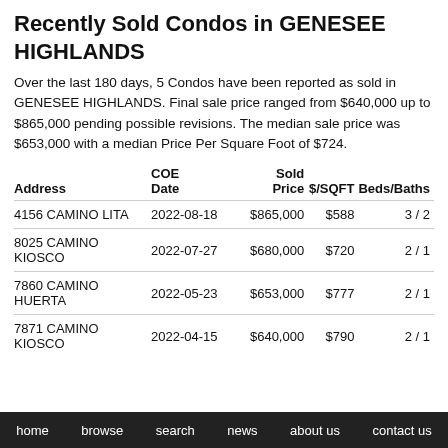Recently Sold Condos in GENESEE HIGHLANDS
Over the last 180 days, 5 Condos have been reported as sold in GENESEE HIGHLANDS. Final sale price ranged from $640,000 up to $865,000 pending possible revisions. The median sale price was $653,000 with a median Price Per Square Foot of $724.
| Address | COE Date | Sold Price | $/SQFT | Beds/Baths |
| --- | --- | --- | --- | --- |
| 4156 CAMINO LITA | 2022-08-18 | $865,000 | $588 | 3 / 2 |
| 8025 CAMINO KIOSCO | 2022-07-27 | $680,000 | $720 | 2 / 1 |
| 7860 CAMINO HUERTA | 2022-05-23 | $653,000 | $777 | 2 / 1 |
| 7871 CAMINO KIOSCO | 2022-04-15 | $640,000 | $790 | 2 / 1 |
home   browse   search   news   about us   contact us